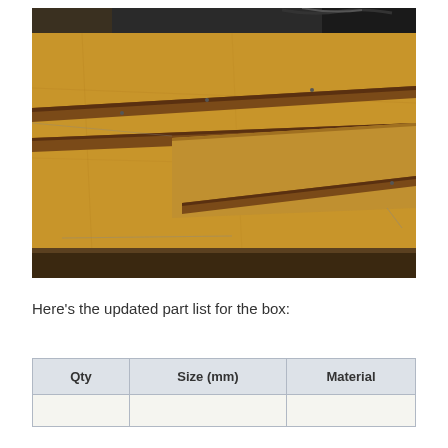[Figure (photo): Photo showing MDF/particle board sheets and long thin wooden strips laid out on a large board surface in a workshop setting. The strips are arranged diagonally across the board.]
Here's the updated part list for the box:
| Qty | Size (mm) | Material |
| --- | --- | --- |